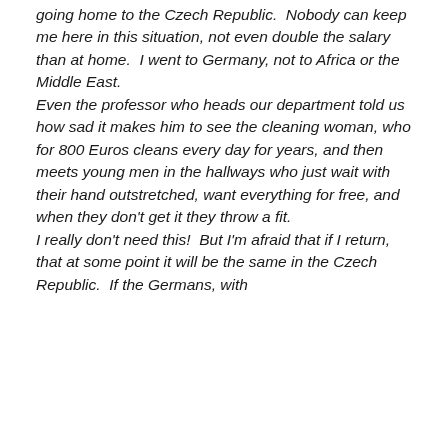going home to the Czech Republic.  Nobody can keep me here in this situation, not even double the salary than at home.  I went to Germany, not to Africa or the Middle East. Even the professor who heads our department told us how sad it makes him to see the cleaning woman, who for 800 Euros cleans every day for years, and then meets young men in the hallways who just wait with their hand outstretched, want everything for free, and when they don't get it they throw a fit. I really don't need this!  But I'm afraid that if I return, that at some point it will be the same in the Czech Republic.  If the Germans, with